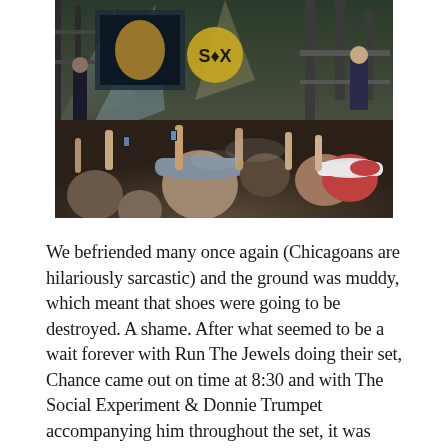[Figure (photo): Concert crowd photo at an outdoor music festival; audience with raised hands in foreground, large stage with scaffolding, bright stage lights, and a logo visible in the background.]
We befriended many once again (Chicagoans are hilariously sarcastic) and the ground was muddy, which meant that shoes were going to be destroyed. A shame. After what seemed to be a wait forever with Run The Jewels doing their set, Chance came out on time at 8:30 and with The Social Experiment & Donnie Trumpet accompanying him throughout the set, it was energetic, entertaining, and certainly one of the best shows I've been to, considering that it was in Chance's hometown, which meant that much more. This would